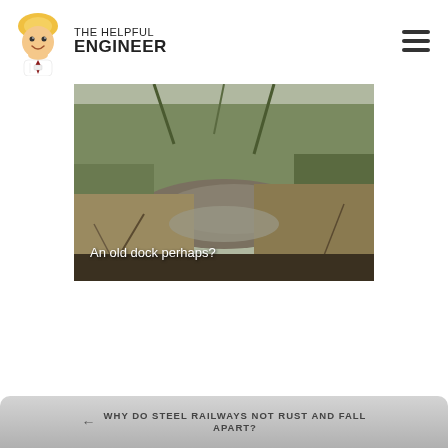THE HELPFUL ENGINEER
[Figure (photo): Overgrown wetland or old dock area with muddy water, dry vegetation, and bare winter trees. Text overlay reads: An old dock perhaps?]
An old dock perhaps?
WHY DO STEEL RAILWAYS NOT RUST AND FALL APART?